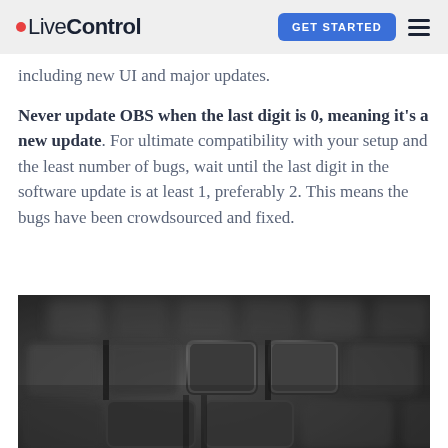•LiveControl  GET STARTED  ≡
including new UI and major updates.
Never update OBS when the last digit is 0, meaning it's a new update. For ultimate compatibility with your setup and the least number of bugs, wait until the last digit in the software update is at least 1, preferably 2. This means the bugs have been crowdsourced and fixed.
[Figure (photo): Close-up black and white photograph of a computer keyboard showing keys at an angle with shallow depth of field]